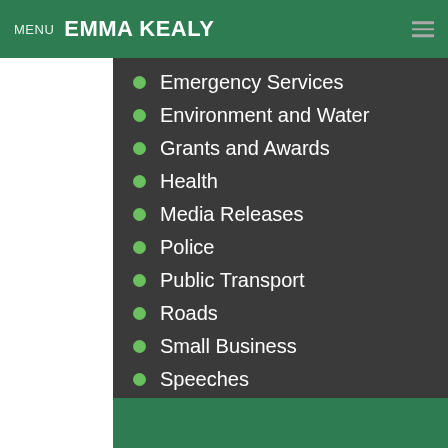MENU  EMMA KEALY
Emergency Services
Environment and Water
Grants and Awards
Health
Media Releases
Police
Public Transport
Roads
Small Business
Speeches
Sport and Recreation
Volunteers
Youth